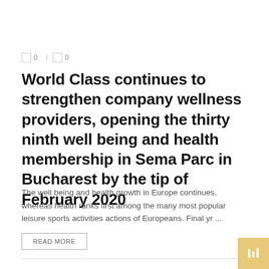□ 0 / □ 0
World Class continues to strengthen company wellness providers, opening the thirty ninth well being and health membership in Sema Parc in Bucharest by the tip of February 2020
The well being and health growth in Europe continues, whereas health ranks first among the many most popular leisure sports activities actions of Europeans. Final yr ...
READ MORE
FUND